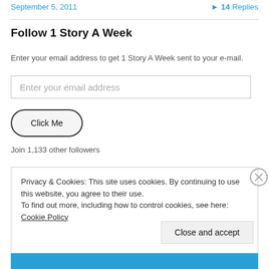September 5, 2011   ▶ 14 Replies
Follow 1 Story A Week
Enter your email address to get 1 Story A Week sent to your e-mail.
Enter your email address
Click Me
Join 1,133 other followers
Privacy & Cookies: This site uses cookies. By continuing to use this website, you agree to their use.
To find out more, including how to control cookies, see here: Cookie Policy
Close and accept